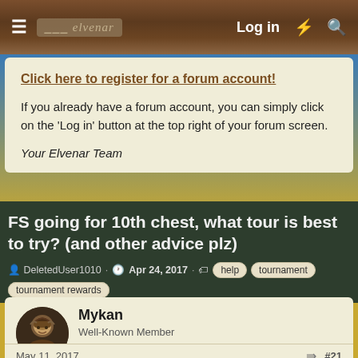Log in
Click here to register for a forum account!
If you already have a forum account, you can simply click on the 'Log in' button at the top right of your forum screen.
Your Elvenar Team
FS going for 10th chest, what tour is best to try? (and other advice plz)
DeletedUser1010 · Apr 24, 2017 · help tournament tournament rewards
Mykan
Well-Known Member
May 11, 2017  #21